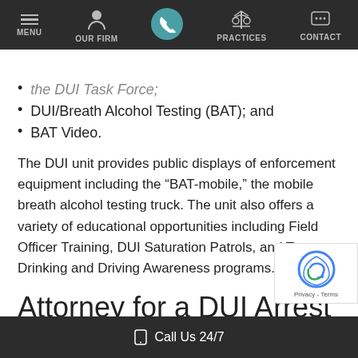MENU | OUR FIRM | [phone] | PRACTICES | CONTACT
the DUI Task Force;
DUI/Breath Alcohol Testing (BAT); and
BAT Video.
The DUI unit provides public displays of enforcement equipment including the “BAT-mobile,” the mobile breath alcohol testing truck. The unit also offers a variety of educational opportunities including Field Officer Training, DUI Saturation Patrols, and Teenage Drinking and Driving Awareness programs.
Attorney for a DUI Arrest by the Broward County Sheriff’s
Call Us 24/7